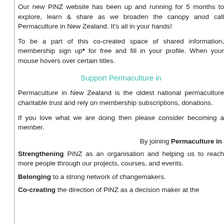Our new PiNZ website has been up and running for 5 months. explore, learn & share as we broaden the canopy and call Permaculture in New Zealand. It's all in your hands!
To be a part of this co-created space of shared information, membership sign up* for free and fill in your profile. When you hovers over certain titles.
Support Permaculture in
Permaculture in New Zealand is the oldest national permaculture charitable trust and rely on membership subscriptions, donations.
If you love what we are doing then please consider becoming a member.
By joining Permaculture in
Strengthening PiNZ as an organisation and helping us to reach more people through our projects, courses, and events.
Belonging to a strong network of changemakers.
Co-creating the direction of PiNZ as a decision maker at the